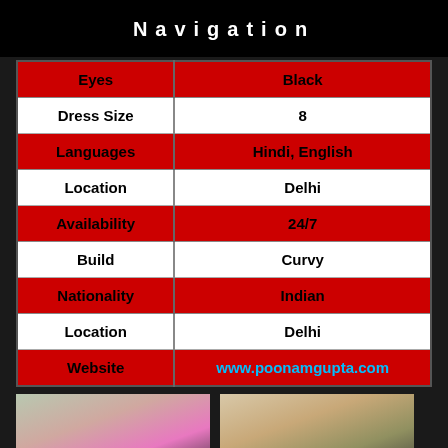Navigation
| Attribute | Value |
| --- | --- |
| Eyes | Black |
| Dress Size | 8 |
| Languages | Hindi, English |
| Location | Delhi |
| Availability | 24/7 |
| Build | Curvy |
| Nationality | Indian |
| Location | Delhi |
| Website | www.poonamgupta.com |
[Figure (photo): Two photos of a woman]